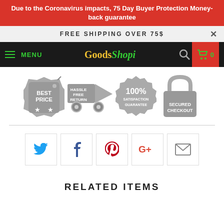Due to the Coronavirus impacts, 75 Day Buyer Protection Money-back guarantee
FREE SHIPPING OVER 75$
[Figure (screenshot): E-commerce navigation bar with hamburger menu labeled MENU in green, GoodsShopi logo in gold/green, search icon, and cart with 0 items on red background]
[Figure (infographic): Four trust badge icons in gray: Best Price tag, Hassle Free Return truck, 100% Satisfaction Guarantee seal, Secured Checkout lock]
[Figure (infographic): Social share buttons row: Twitter (blue), Facebook (dark blue), Pinterest (red), Google+ (red), Email (gray)]
RELATED ITEMS